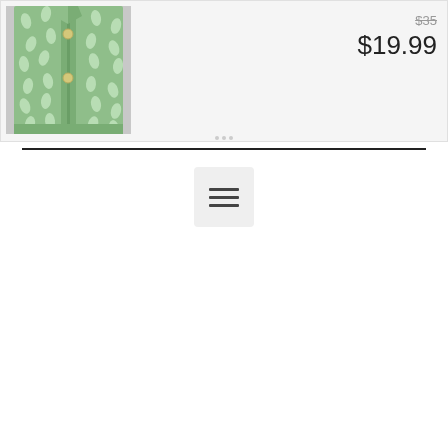[Figure (photo): Folded green button-up shirt with white leaf/diamond pattern, laid flat on gray background]
$35
$19.99
[Figure (other): Horizontal menu/hamburger icon with three lines, inside a rounded rectangle button]